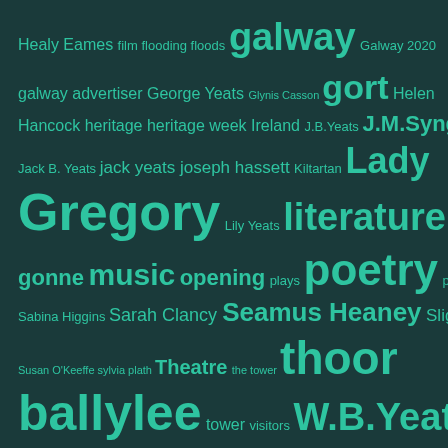[Figure (infographic): Tag cloud on dark teal background with tags related to Irish literary heritage: Healy, Eames, film, flooding, floods, galway (large), Galway 2020, galway advertiser, George Yeats, Glynis Casson, gort (large), Helen, Hancock, heritage, heritage week, Ireland, J.B.Yeats, J.M.Synge, Jack B. Yeats, jack yeats, joseph hassett, Kiltartan, Lady Gregory (very large), Lily Yeats, literature (very large), mary o'malley, maud, gonne, music, opening, plays, poetry (very large), poetry slam, rte, Sabina Higgins, Sarah Clancy, Seamus Heaney, Sligo, studio, Susan O'Keeffe, sylvia plath, Theatre, the tower, thoor (large), ballylee (large), tower, visitors, W.B.Yeats (very large), WB Yeats, WBYeats, yeats, Yeats's women, yeats2015 (large), yeats thoor ballylee society (largest, partially cut off)]